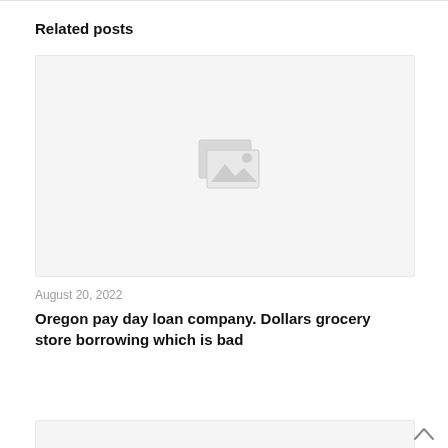Related posts
[Figure (photo): Placeholder image with broken image icon (grey background with image placeholder icon in center)]
August 20, 2022
Oregon pay day loan company. Dollars grocery store borrowing which is bad
Read more